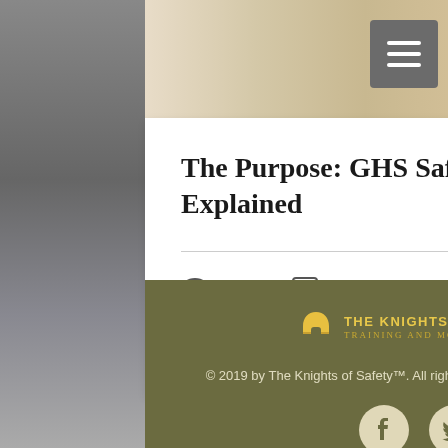[Figure (photo): Top banner with notebook and stationery photo]
The Purpose: GHS Safety Data Sheets Explained
420 views · 1 comment · 2 likes
[Figure (logo): The Knights of Safety logo with helmet icon and yellow text]
© 2019 by The Knights of Safety™. All rights reserved. Our Privacy Policy.